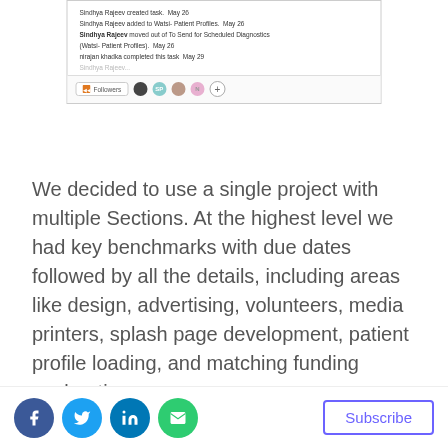[Figure (screenshot): Screenshot of a task management interface showing activity log entries by Sindhya Rajeev and nirajan khadka, with a Followers bar showing avatars and a plus button.]
We decided to use a single project with multiple Sections. At the highest level we had key benchmarks with due dates followed by all the details, including areas like design, advertising, volunteers, media printers, splash page development, patient profile loading, and matching funding exploration.
Following the lead of the Asana team, we defined
[Figure (infographic): Social sharing buttons: Facebook, Twitter, LinkedIn, Email, and a Subscribe button.]